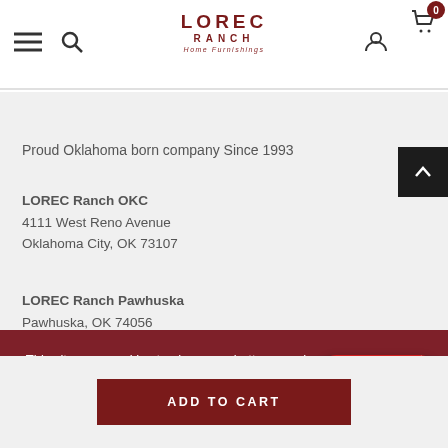LOREC RANCH Home Furnishings — navigation header with hamburger menu, search, logo, user icon, cart (0)
Proud Oklahoma born company Since 1993
LOREC Ranch OKC
4111 West Reno Avenue
Oklahoma City, OK 73107
LOREC Ranch Pawhuska
Pawhuska, OK 74056
LOREC Ranch A...
Pawhuska, OK...
This site uses cookies to give you a better experience. Click "Accept" to continue on the site.
PRIVACY POLICY   ACCEPT
Chat with us
ADD TO CART